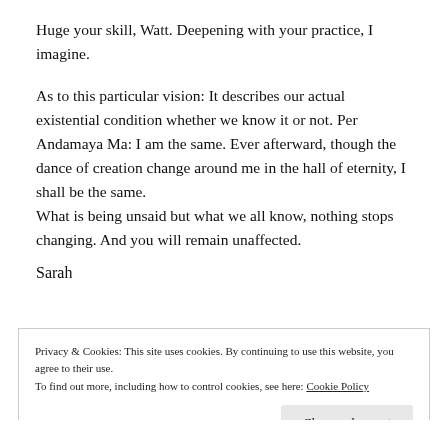Huge your skill, Watt. Deepening with your practice, I imagine.
As to this particular vision: It describes our actual existential condition whether we know it or not. Per Andamaya Ma: I am the same. Ever afterward, though the dance of creation change around me in the hall of eternity, I shall be the same.
What is being unsaid but what we all know, nothing stops changing. And you will remain unaffected.
Sarah
Privacy & Cookies: This site uses cookies. By continuing to use this website, you agree to their use.
To find out more, including how to control cookies, see here: Cookie Policy
Close and accept